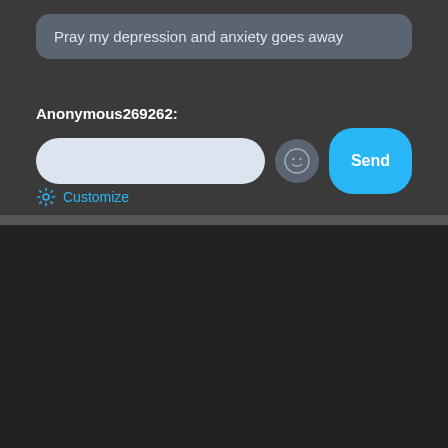Pray my depression and anxiety goes away
Anonymous269262:
[Figure (screenshot): Chat input UI with text field, emoji button, and Send button]
Customize
[Figure (advertisement): iamsignificant.ca ad banner with logo, person photo, taglines: Inspired Living. Success with Significance. - SPIRITUAL DIRECTION - LIFE COACHING]